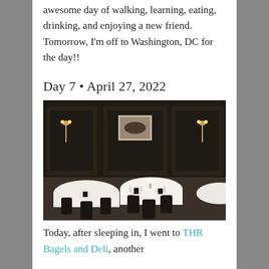awesome day of walking, learning, eating, drinking, and enjoying a new friend. Tomorrow, I'm off to Washington, DC for the day!!
Day 7 • April 27, 2022
[Figure (photo): Black and white photo of an elegant restaurant interior with dark wood paneled walls, wall sconces, framed artwork, and formally set round tables with white tablecloths and dark chairs.]
Today, after sleeping in, I went to THR Bagels and Deli, another